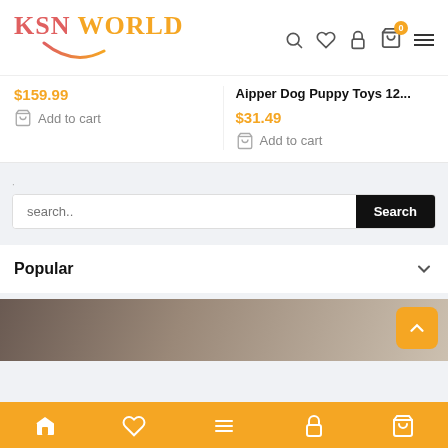[Figure (screenshot): KSN WORLD e-commerce website header with logo, search, wishlist, lock, cart (0 items), and hamburger menu icons]
$159.99
Add to cart
Aipper Dog Puppy Toys 12...
$31.49
Add to cart
search..
Search
Popular
[Figure (photo): Partial product image at the bottom of the page]
Bottom navigation bar with home, heart, menu, lock, and cart icons